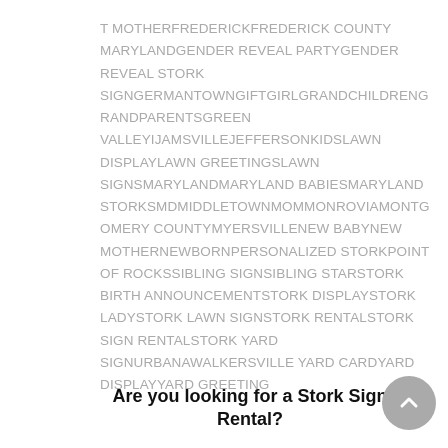T MOTHERFREDERICKFREDERICK COUNTY MARYLANDGENDER REVEAL PARTYGENDER REVEAL STORK SIGNGERMANTOWNGIFTGIRLGRANDCHILDRENGRANDPARENTSGREEN VALLEYIJAMSVILLEJEFFERSONKIDSLAWN DISPLAYLAWN GREETINGSLAWN SIGNSMARYLANDMARYLAND BABIESMARYLAND STORKSMDMIDDLETOWNMOMMONROVIAMONTGOMERY COUNTYMYERSVILLENEW BABYNEW MOTHERNEWBORNPERSONALIZED STORKPOINT OF ROCKSSIBLING SIGNSIBLING STARSTORK BIRTH ANNOUNCEMENTSTORK DISPLAYSTORK LADYSTORK LAWN SIGNSTORK RENTALSTORK SIGN RENTALSTORK YARD SIGNURBANAWALKERSVILLE YARD CARDYARD DISPLAYYARD GREETING
Are you looking for a Stork Sign Rental?